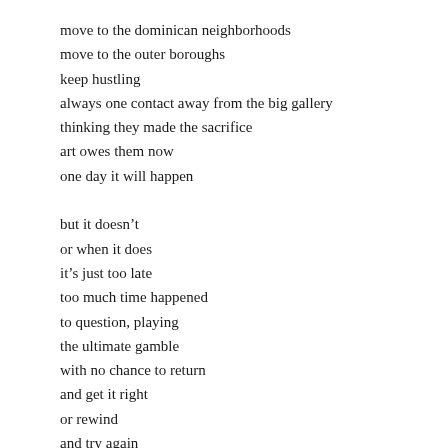move to the dominican neighborhoods
move to the outer boroughs
keep hustling
always one contact away from the big gallery
thinking they made the sacrifice
art owes them now
one day it will happen
but it doesn’t
or when it does
it’s just too late
too much time happened
to question, playing
the ultimate gamble
with no chance to return
and get it right
or rewind
and try again